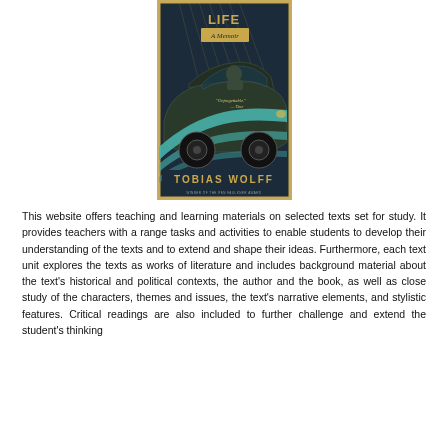[Figure (illustration): Book cover of 'This Boy's Life: A Memoir' by Tobias Wolff. Dark background with a retro illustration of a vintage car, teal/turquoise stylized streaks, and a figure visible through the windshield. Text reads 'LIFE A Memoir', 'Unforgettable. -Time', and 'TOBIAS WOLFF' at the bottom with author award information.]
This website offers teaching and learning materials on selected texts set for study. It provides teachers with a range tasks and activities to enable students to develop their understanding of the texts and to extend and shape their ideas. Furthermore, each text unit explores the texts as works of literature and includes background material about the text's historical and political contexts, the author and the book, as well as close study of the characters, themes and issues, the text's narrative elements, and stylistic features. Critical readings are also included to further challenge and extend the student's thinking